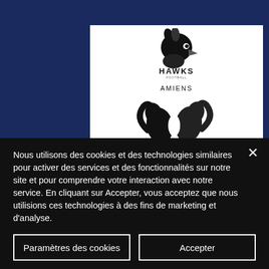oreineck18207/profile
[Figure (logo): Three sports team logos: Hawks (eagle mascot), Amiens Les Écureuils (squirrel mascot), and Les Conquérants de Caen (knight mascot), displayed in black and white]
Nous utilisons des cookies et des technologies similaires pour activer des services et des fonctionnalités sur notre site et pour comprendre votre interaction avec notre service. En cliquant sur Accepter, vous acceptez que nous utilisions ces technologies à des fins de marketing et d'analyse.
Paramètres des cookies
Accepter